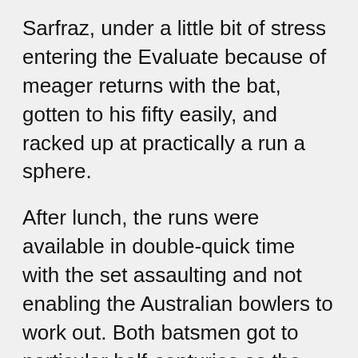Sarfraz, under a little bit of stress entering the Evaluate because of meager returns with the bat, gotten to his fifty easily, and racked up at practically a run a sphere.
After lunch, the runs were available in double-quick time with the set assaulting and not enabling the Australian bowlers to work out. Both batsmen got to particular half-centuries as the century stand was raised in 135-odd spheres.
The very first hr from play after lunch saw them rack up at practically 5 and over, after which the limits dried out up, however, runs maintained ticking as the